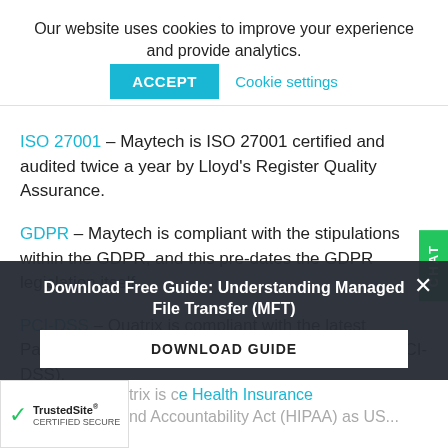Our website uses cookies to improve your experience and provide analytics. ACCEPT Cookie settings
ISO 27001 – Maytech is ISO 27001 certified and audited twice a year by Lloyd's Register Quality Assurance.
GDPR – Maytech is compliant with the stipulations within the GDPR, and this pre-dates the GDPR legislation itself.
PCI-DSS – Quatrix is compliant with the latest Payment Card Industry Data Security Standards (PCI-DSS).
Download Free Guide: Understanding Managed File Transfer (MFT)
DOWNLOAD GUIDE
Quatrix is compliant with the Health Insurance and Accountability Act (HIPAA) as US...
[Figure (logo): TrustedSite Certified Secure badge]